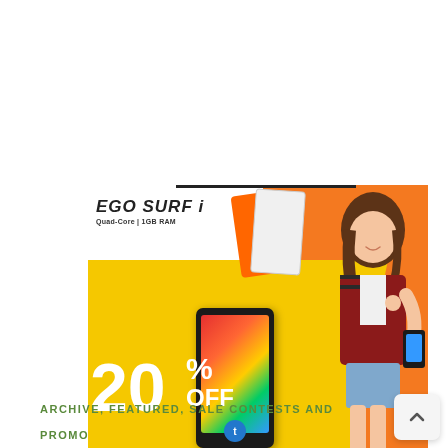[Figure (photo): Advertisement for EGO SURF i smartphone. Yellow and orange background with product phones and a young woman holding a phone. Text reads: EGO SURF i, Quad-Core | 1GB RAM, 20% OFF, PHP1,999 ONLY]
ARCHIVE, FEATURED, SALE CONTESTS AND PROMO